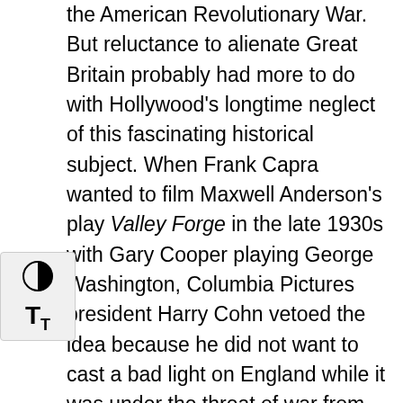the American Revolutionary War. But reluctance to alienate Great Britain probably had more to do with Hollywood's longtime neglect of this fascinating historical subject. When Frank Capra wanted to film Maxwell Anderson's play Valley Forge in the late 1930s with Gary Cooper playing George Washington, Columbia Pictures president Harry Cohn vetoed the idea because he did not want to cast a bad light on England while it was under the threat of war from Nazi Germany.
During the Vietnam War, when the very concept of patriotism was under attack in America, John Ford and Capra decided to